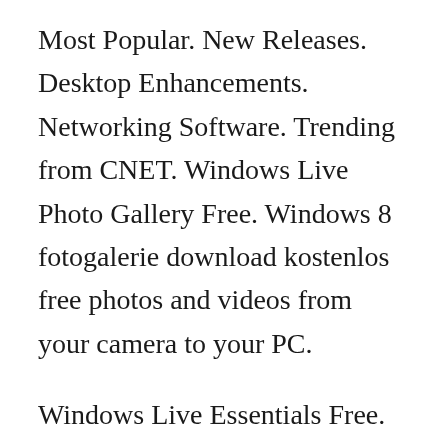Most Popular. New Releases. Desktop Enhancements. Networking Software. Trending from CNET. Windows Live Photo Gallery Free. Windows 8 fotogalerie download kostenlos free photos and videos from your camera to your PC.
Windows Live Essentials Free. Do more with Windows on your PC with programs from Microsoft. Windows Live Movie Maker Free. Create movies and slide shows from your photos and videos, and share them with your